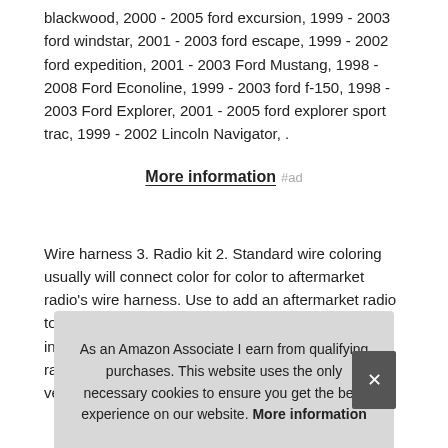blackwood, 2000 - 2005 ford excursion, 1999 - 2003 ford windstar, 2001 - 2003 ford escape, 1999 - 2002 ford expedition, 2001 - 2003 Ford Mustang, 1998 - 2008 Ford Econoline, 1999 - 2003 ford f-150, 1998 - 2003 Ford Explorer, 2001 - 2005 ford explorer sport trac, 1999 - 2002 Lincoln Navigator, .
More information #ad
Wire harness 3. Radio kit 2. Standard wire coloring usually will connect color for color to aftermarket radio's wire harness. Use to add an aftermarket radio to the factory vehicle wiring. Rad inst radi vehi
As an Amazon Associate I earn from qualifying purchases. This website uses the only necessary cookies to ensure you get the best experience on our website. More information